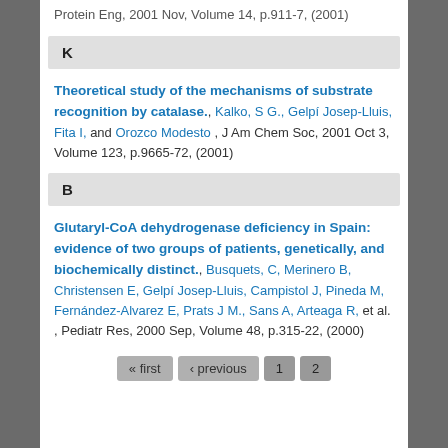Protein Eng, 2001 Nov, Volume 14, p.911-7, (2001)
K
Theoretical study of the mechanisms of substrate recognition by catalase., Kalko, S G., Gelpí Josep-Lluis, Fita I, and Orozco Modesto , J Am Chem Soc, 2001 Oct 3, Volume 123, p.9665-72, (2001)
B
Glutaryl-CoA dehydrogenase deficiency in Spain: evidence of two groups of patients, genetically, and biochemically distinct., Busquets, C, Merinero B, Christensen E, Gelpí Josep-Lluis, Campistol J, Pineda M, Fernández-Alvarez E, Prats J M., Sans A, Arteaga R, et al. , Pediatr Res, 2000 Sep, Volume 48, p.315-22, (2000)
« first  ‹ previous  1  2